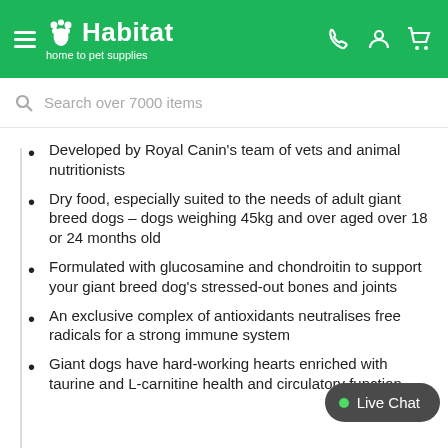Habitat home to pet supplies
Search over 7000 items
Developed by Royal Canin's team of vets and animal nutritionists
Dry food, especially suited to the needs of adult giant breed dogs – dogs weighing 45kg and over aged over 18 or 24 months old
Formulated with glucosamine and chondroitin to support your giant breed dog's stressed-out bones and joints
An exclusive complex of antioxidants neutralises free radicals for a strong immune system
Giant dogs have hard-working hearts enriched with taurine and L-carnitine health and circulatory function